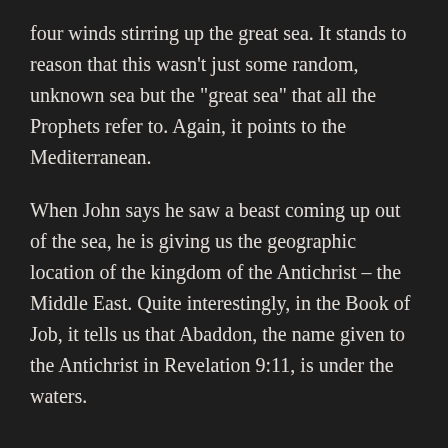four winds stirring up the great sea. It stands to reason that this wasn’t just some random, unknown sea but the “great sea” that all the Prophets refer to. Again, it points to the Mediterranean.
When John says he saw a beast coming up out of the sea, he is giving us the geographic location of the kingdom of the Antichrist – the Middle East. Quite interestingly, in the Book of Job, it tells us that Abaddon, the name given to the Antichrist in Revelation 9:11, is under the waters.